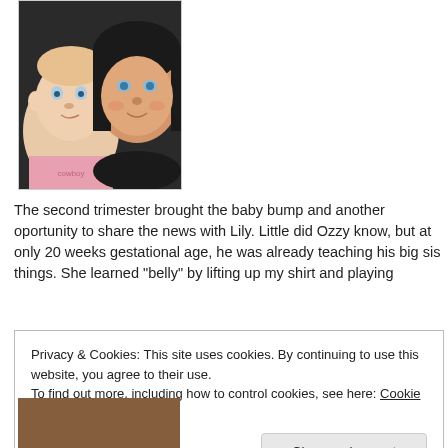[Figure (photo): A selfie photo of a woman and a baby together, close-up. The baby is wearing a pink shirt with text visible. The woman has dark hair and blue eyes.]
The second trimester brought the baby bump and another oportunity to share the news with Lily. Little did Ozzy know, but at only 20 weeks gestational age, he was already teaching his big sis things. She learned “belly” by lifting up my shirt and playing
Privacy & Cookies: This site uses cookies. By continuing to use this website, you agree to their use.
To find out more, including how to control cookies, see here: Cookie Policy
Close and accept
[Figure (photo): Bottom portion of another photo, partially visible at the bottom of the page.]